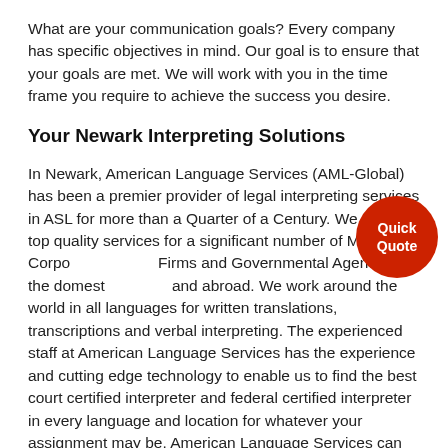What are your communication goals? Every company has specific objectives in mind. Our goal is to ensure that your goals are met. We will work with you in the time frame you require to achieve the success you desire.
Your Newark Interpreting Solutions
In Newark, American Language Services (AML-Global) has been a premier provider of legal interpreting services in ASL for more than a Quarter of a Century. We provide top quality services for a significant number of Major Corporations, Law Firms and Governmental Agencies in the domestic market and abroad. We work around the world in all languages for written translations, transcriptions and verbal interpreting. The experienced staff at American Language Services has the experience and cutting edge technology to enable us to find the best court certified interpreter and federal certified interpreter in every language and location for whatever your assignment may be. American Language Services can be reached 24 hours a day, 7 days a week at 800-951-5020.
[Figure (other): Red circular button overlay with white text reading 'Quick Quote']